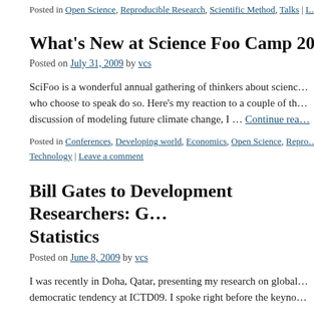Posted in Open Science, Reproducible Research, Scientific Method, Talks | L…
What's New at Science Foo Camp 2009
Posted on July 31, 2009 by vcs
SciFoo is a wonderful annual gathering of thinkers about science… who choose to speak do so. Here's my reaction to a couple of th… discussion of modeling future climate change, I … Continue reading
Posted in Conferences, Developing world, Economics, Open Science, Repro… Technology | Leave a comment
Bill Gates to Development Researchers: Get Better Statistics
Posted on June 8, 2009 by vcs
I was recently in Doha, Qatar, presenting my research on global… democratic tendency at ICTD09. I spoke right before the keynot…